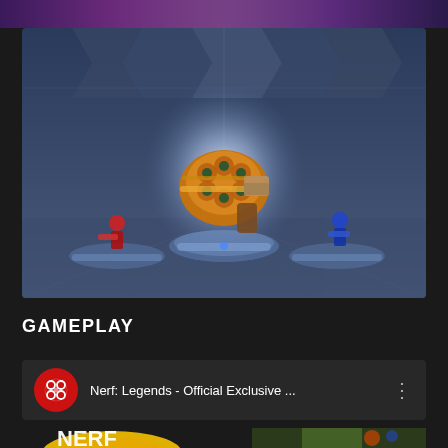[Figure (screenshot): Top strip showing partial colorful game art from a previous card]
[Figure (screenshot): Gameplay screenshot of Nerf: Legends showing a sci-fi arena with a large golden Nerf blaster displayed in the center on a glowing blue platform, flanked by smaller character figures with blasters on either side, and three circular platform bases in the foreground, set in a hexagonal-paneled sci-fi facility]
GAMEPLAY
[Figure (screenshot): Video card with red circular IGN channel icon featuring a diamond/dots logo, video title 'Nerf: Legends - Official Exclusive ...' and three-dots menu icon]
[Figure (screenshot): Partial bottom thumbnail showing Nerf logo and colorful game imagery]